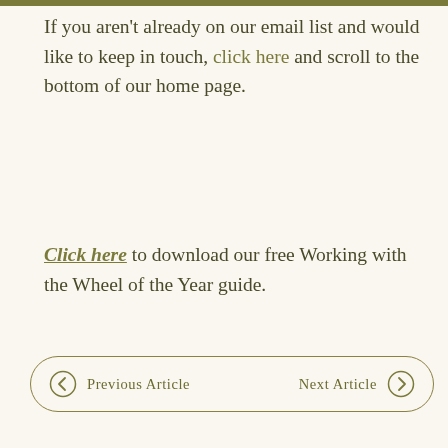If you aren't already on our email list and would like to keep in touch, click here and scroll to the bottom of our home page.
Click here to download our free Working with the Wheel of the Year guide.
← Previous Article   Next Article →
Leave a Reply
Nicola Cancel reply
Your email address will not be published.